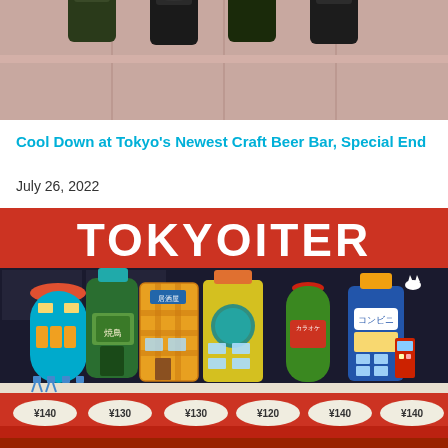[Figure (photo): Top portion of photo showing dark beer cans/bottles on a pink/mauve tiled surface, cropped at top]
Cool Down at Tokyo's Newest Craft Beer Bar, Special End
July 26, 2022
[Figure (illustration): Tokyoiter illustrated poster showing colorful Japanese drink bottles/containers styled as Tokyo neighborhood buildings and shops (izakaya, konbini, etc.) with price tags showing ¥140, ¥130, ¥130, ¥120, ¥140, ¥140 on a red background with TOKYOITER text at top]